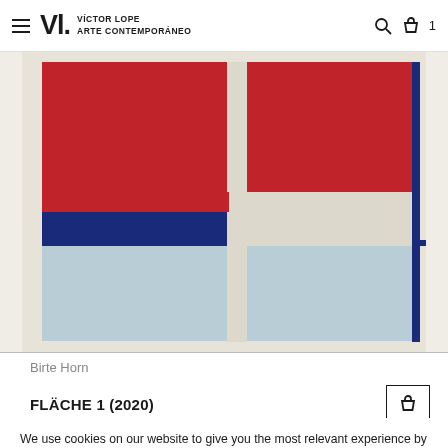Víctor Lope Arte Contemporáneo
[Figure (photo): Abstract geometric painting with red, blue, and off-white rectangular blocks in a Mondrian-style composition.]
Birte Horn
FLÄCHE 1 (2020)
We use cookies on our website to give you the most relevant experience by remembering your preferences and repeat visits. By clicking "Accept All", you consent to the use of ALL the cookies. However, you may visit "Cookie Settings" to provide a controlled consent.
Cookie Settings
Accept All